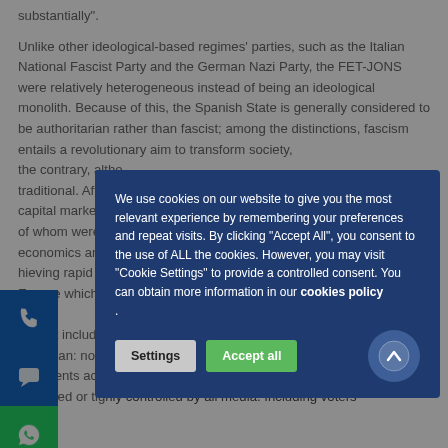substantially".
Unlike other ideological-based regimes' parties, such as the Italian National Fascist Party and the German Nazi Party, the FET-JONS were relatively heterogeneous instead of being an ideological monolith. Because of this, the Spanish State is generally considered to be authoritarian rather than fascist; among the distinctions, fascism entails a revolutionary aim to transform society, the contrary, altho traditional. After W capital markets, b of whom were link economics and fa hieving rapid ec Europe which me while it included f horitarian: non opponents across ppressed or tig
[Figure (screenshot): Cookie consent modal dialog overlaying the webpage. Dark blue background with white text reading: 'We use cookies on our website to give you the most relevant experience by remembering your preferences and repeat visits. By clicking "Accept All", you consent to the use of ALL the cookies. However, you may visit "Cookie Settings" to provide a controlled consent. You can obtain more information in our cookies policy.' Two buttons at bottom: grey 'Settings' button and green 'Accept all' button. A circular scroll-to-top arrow button appears at bottom right.]